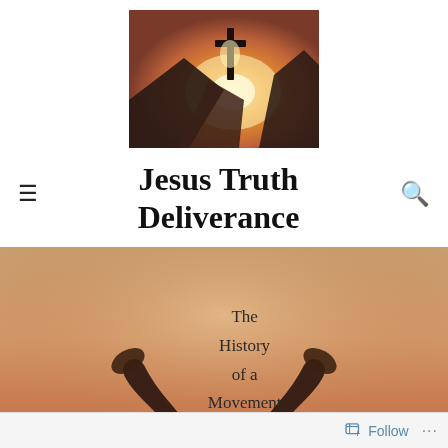[Figure (photo): Cross on a hilltop silhouetted against a bright sunset with mountain ridges]
Jesus Truth Deliverance
[Figure (photo): Person raising both arms with palms facing upward against a dusky warm-toned sky, with overlaid text 'The History of a Movement']
The History of a Movement
Follow ...